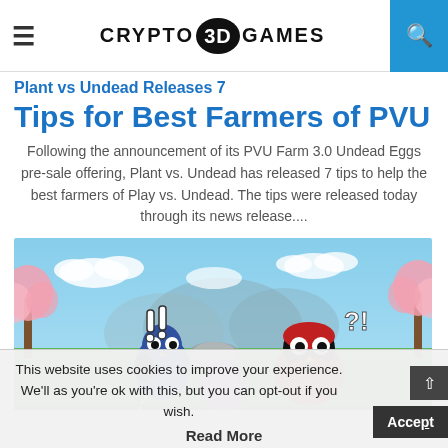Crypto3DGames
Plant vs Undead Releases 7 Tips for Best Farmers of PVU
Following the announcement of its PVU Farm 3.0 Undead Eggs pre-sale offering, Plant vs. Undead has released 7 tips to help the best farmers of Play vs. Undead. The tips were released today through its news release....
[Figure (illustration): Colorful cartoon game scene showing two bird-like characters with exclamation marks and question marks above them, standing on green grass with cherry blossom trees and mountains in the background.]
This website uses cookies to improve your experience. We'll as you're ok with this, but you can opt-out if you wish.
Read More